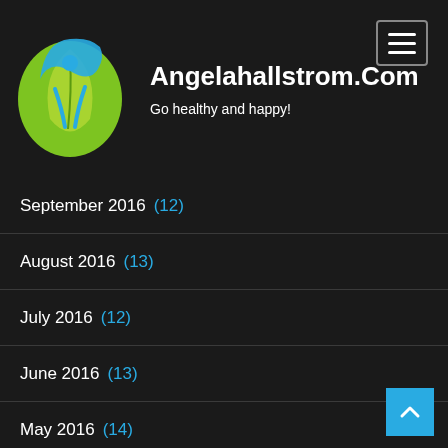[Figure (logo): Blue and green teardrop/leaf logo with a person figure inside]
Angelahallstrom.Com
Go healthy and happy!
September 2016 (12)
August 2016 (13)
July 2016 (12)
June 2016 (13)
May 2016 (14)
April 2016 (13)
March 2016 (12)
February 2016 (13)
January 2016 (14)